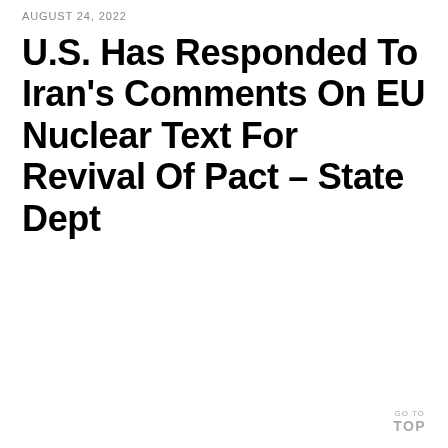AUGUST 24, 2022
U.S. Has Responded To Iran's Comments On EU Nuclear Text For Revival Of Pact – State Dept
GO TO TOP